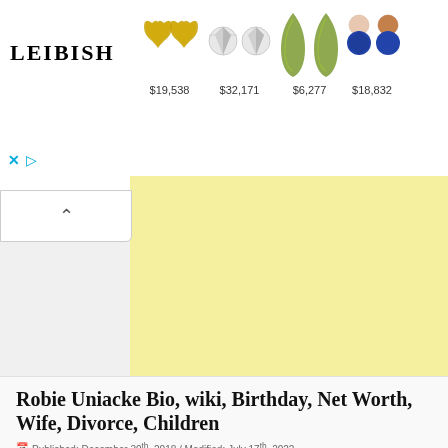[Figure (screenshot): LEIBISH jewelry advertisement banner showing logo and four jewelry products with prices: $19,538 (yellow diamond earrings), $32,171 (diamond stud earrings), $6,277 (green peridot drops), $18,832 (blue sapphire and pearl earrings)]
Robie Uniacke Bio, wiki, Birthday, Net Worth, Wife, Divorce, Children
Published: December 30th, 2018 / Modified: July 17th, 2022